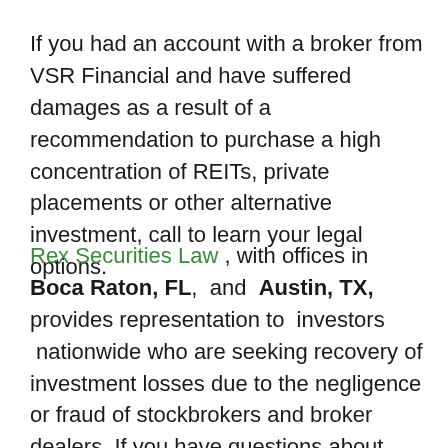If you had an account with a broker from VSR Financial and have suffered damages as a result of a recommendation to purchase a high concentration of REITs, private placements or other alternative investment, call to learn your legal options.
Rex Securities Law , with offices in Boca Raton, FL, and Austin, TX, provides representation to investors nationwide who are seeking recovery of investment losses due to the negligence or fraud of stockbrokers and broker dealers. If you have questions about how your account has been handled, call to speak with an experienced